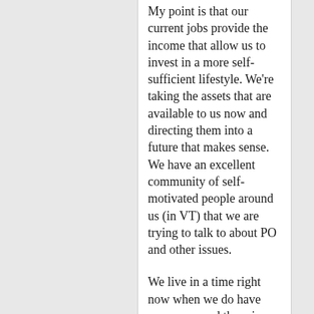My point is that our current jobs provide the income that allow us to invest in a more self-sufficient lifestyle. We're taking the assets that are available to us now and directing them into a future that makes sense. We have an excellent community of self-motivated people around us (in VT) that we are trying to talk to about PO and other issues.
We live in a time right now when we do have resources, and there is still an opportunity to direct those resources effectively. You obviously do not need to follow our model; Any re-direction of resources into a better future is a good...